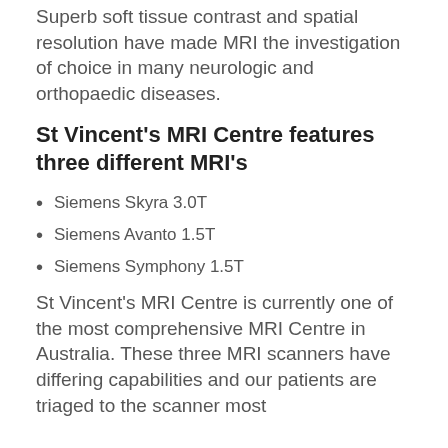Superb soft tissue contrast and spatial resolution have made MRI the investigation of choice in many neurologic and orthopaedic diseases.
St Vincent's MRI Centre features three different MRI's
Siemens Skyra 3.0T
Siemens Avanto 1.5T
Siemens Symphony 1.5T
St Vincent's MRI Centre is currently one of the most comprehensive MRI Centre in Australia. These three MRI scanners have differing capabilities and our patients are triaged to the scanner most